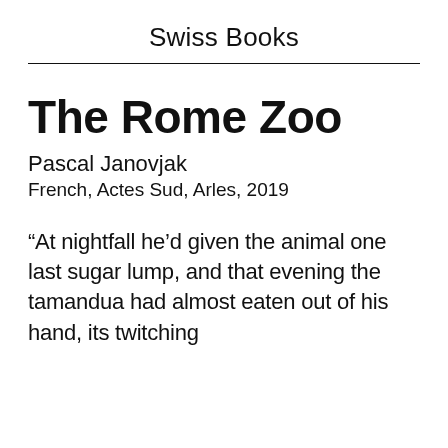Swiss Books
The Rome Zoo
Pascal Janovjak
French, Actes Sud, Arles, 2019
“At nightfall he’d given the animal one last sugar lump, and that evening the tamandua had almost eaten out of his hand, its twitching